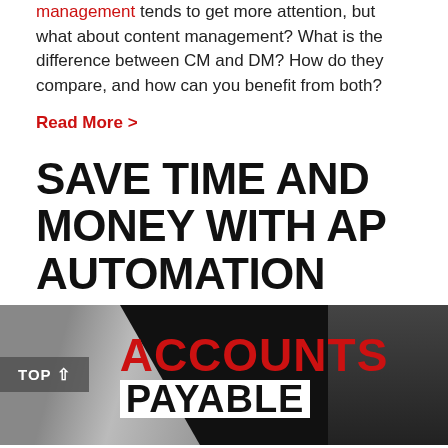Since it has been around longer, document management tends to get more attention, but what about content management? What is the difference between CM and DM? How do they compare, and how can you benefit from both?
Read More >
SAVE TIME AND MONEY WITH AP AUTOMATION
[Figure (photo): Photo showing hands and a sign reading ACCOUNTS PAYABLE in red and black bold text on a dark background]
While it is not always fun, paying bills is a business necessity. Unfortunately, many small-to-medium-sized